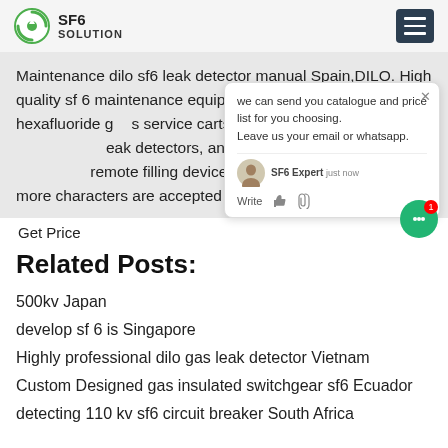SF6 SOLUTION
Maintenance dilo sf6 leak detector manual Spain,DILO. High quality sf 6 maintenance equipment. Everything from Sulfr hexafluoride gas service carts to valves and coupling leak detectors, analyzers, monitoring equipment, remote filling devices. Rules Only words with more characters are accepted Max
Get Price
Related Posts:
500kv Japan
develop sf 6 is Singapore
Highly professional dilo gas leak detector Vietnam
Custom Designed gas insulated switchgear sf6 Ecuador
detecting 110 kv sf6 circuit breaker South Africa